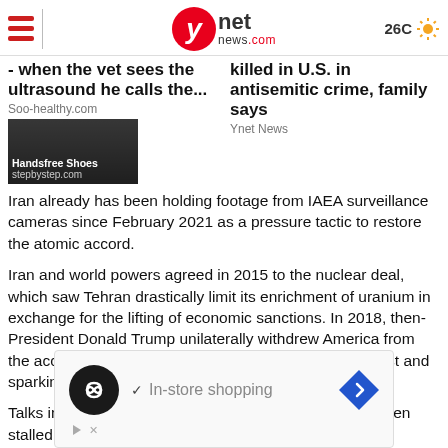ynet news.com | 26C
- when the vet sees the ultrasound he calls the...
killed in U.S. in antisemitic crime, family says
Soo-healthy.com
Ynet News
Iran already has been holding footage from IAEA surveillance cameras since February 2021 as a pressure tactic to restore the atomic accord.
Iran and world powers agreed in 2015 to the nuclear deal, which saw Tehran drastically limit its enrichment of uranium in exchange for the lifting of economic sanctions. In 2018, then-President Donald Trump unilaterally withdrew America from the accord, raising tensions across the wider Middle East and sparking a series of attacks and incidents.
Talks in Vienna over Iran's tattered nuclear deal have been stalled since April. Since the deal's collapse, Iran runs advanced centrifuges and has a rapidly growing stockpile of
[Figure (screenshot): Advertisement banner with circular black logo with infinity-like symbol, checkmark, 'In-store shopping' text, and blue diamond navigation icon.]